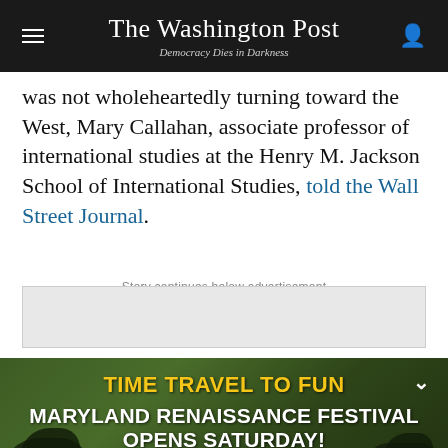The Washington Post — Democracy Dies in Darkness
was not wholeheartedly turning toward the West, Mary Callahan, associate professor of international studies at the Henry M. Jackson School of International Studies, told the Wall Street Journal.
Story continues below advertisement
[Figure (photo): Maryland Renaissance Festival advertisement banner with text: TIME TRAVEL TO FUN / MARYLAND RENAISSANCE FESTIVAL OPENS SATURDAY! / ALL TICKETS SOLD ONLINE, shown over a photo background of festival-goers in costume.]